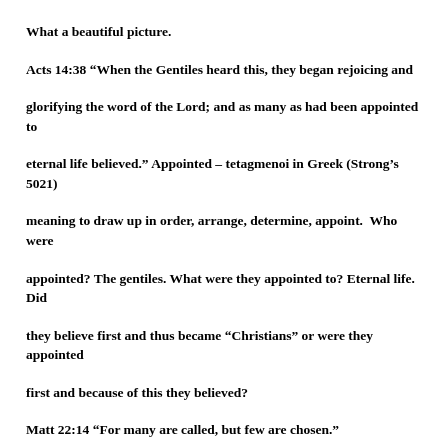What a beautiful picture.
Acts 14:38 “When the Gentiles heard this, they began rejoicing and glorifying the word of the Lord; and as many as had been appointed to eternal life believed.” Appointed – tetagmenoi in Greek (Strong’s 5021) meaning to draw up in order, arrange, determine, appoint.  Who were appointed? The gentiles. What were they appointed to? Eternal life. Did they believe first and thus became “Christians” or were they appointed first and because of this they believed?
Matt 22:14 “For many are called, but few are chosen.”